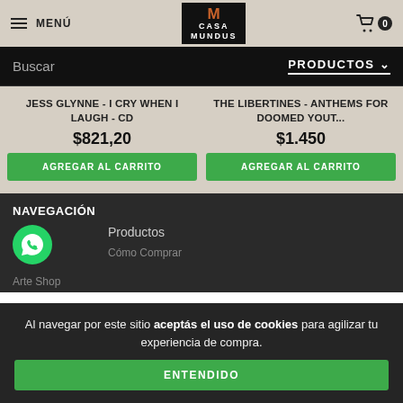☰ MENÚ  |  CASA MUNDUS  |  🛒 0
Buscar   PRODUCTOS ∨
JESS GLYNNE - I CRY WHEN I LAUGH - CD  $821,20  AGREGAR AL CARRITO
THE LIBERTINES - ANTHEMS FOR DOOMED YOUT...  $1.450  AGREGAR AL CARRITO
NAVEGACIÓN
Productos
Arte Shop
Cómo Comprar
Al navegar por este sitio aceptás el uso de cookies para agilizar tu experiencia de compra.
ENTENDIDO